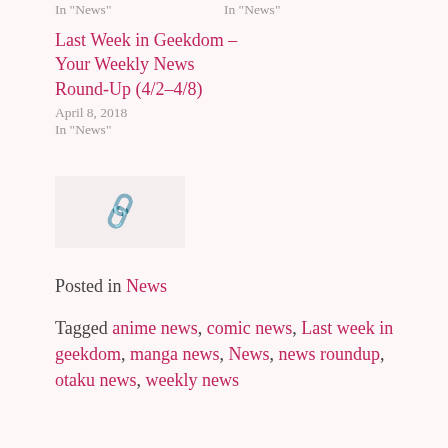In "News"
In "News"
Last Week in Geekdom – Your Weekly News Round-Up (4/2–4/8)
April 8, 2018
In "News"
[Figure (other): Link/chain icon on a light pink background block]
Posted in News
Tagged anime news, comic news, Last week in geekdom, manga news, News, news roundup, otaku news, weekly news